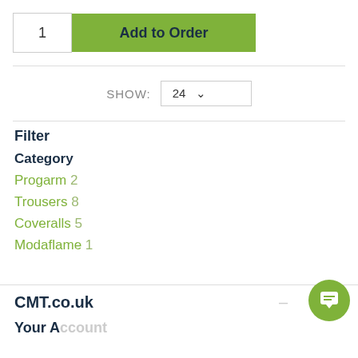[Figure (screenshot): Add to Order button with quantity box showing 1 and green button labeled Add to Order]
SHOW: 24
Filter
Category
Progarm 2
Trousers 8
Coveralls 5
Modaflame 1
CMT.co.uk
Your Account